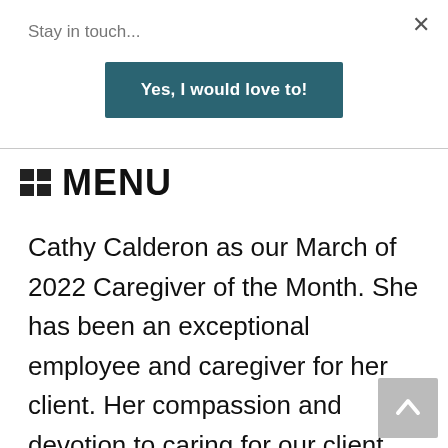Stay in touch...
Yes, I would love to!
MENU
Cathy Calderon as our March of 2022 Caregiver of the Month. She has been an exceptional employee and caregiver for her client. Her compassion and devotion to caring for our client make us wish we could duplicate her a hundred times over! Her down-to-earth